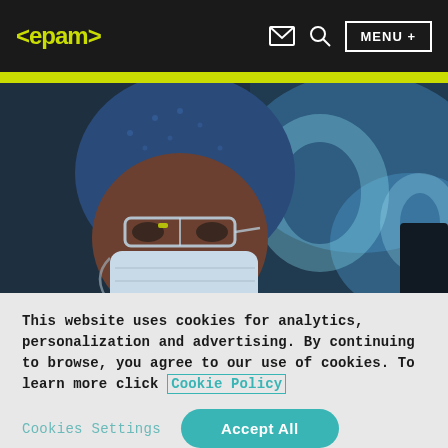<epam> [mail icon] [search icon] MENU +
[Figure (photo): Medical professional wearing surgical mask, protective eyewear, and blue surgical cap, looking at screens with medical imaging in a clinical setting]
This website uses cookies for analytics, personalization and advertising. By continuing to browse, you agree to our use of cookies. To learn more click Cookie Policy
Cookies Settings  Accept All